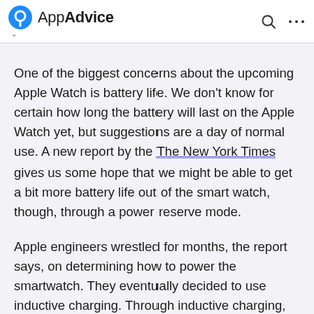AppAdvice
One of the biggest concerns about the upcoming Apple Watch is battery life. We don't know for certain how long the battery will last on the Apple Watch yet, but suggestions are a day of normal use. A new report by the The New York Times gives us some hope that we might be able to get a bit more battery life out of the smart watch, though, through a power reserve mode.
Apple engineers wrestled for months, the report says, on determining how to power the smartwatch. They eventually decided to use inductive charging. Through inductive charging, an electrical current creates a magnetic field. It is that magnetic field that creates the voltage to power the watch.